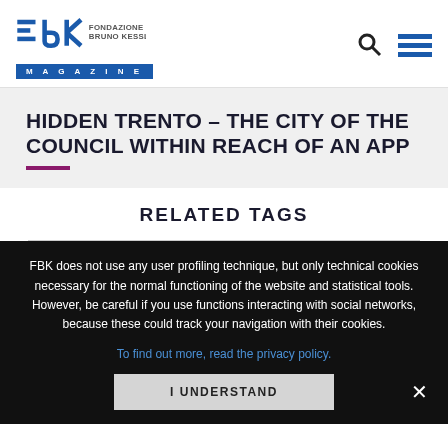Fondazione Bruno Kessler Magazine
HIDDEN TRENTO – THE CITY OF THE COUNCIL WITHIN REACH OF AN APP
RELATED TAGS
FBK does not use any user profiling technique, but only technical cookies necessary for the normal functioning of the website and statistical tools. However, be careful if you use functions interacting with social networks, because these could track your navigation with their cookies.
To find out more, read the privacy policy.
I UNDERSTAND